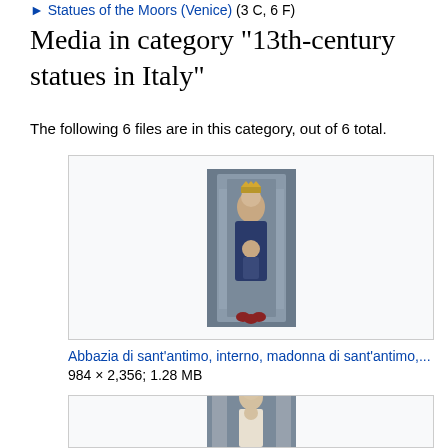► Statues of the Moors (Venice) (3 C, 6 F)
Media in category "13th-century statues in Italy"
The following 6 files are in this category, out of 6 total.
[Figure (photo): Thumbnail image of a Madonna statue at Abbazia di Sant'Antimo]
Abbazia di sant'antimo, interno, madonna di sant'antimo,...
984 × 2,356; 1.28 MB
[Figure (photo): Thumbnail image of a second statue, partially visible]